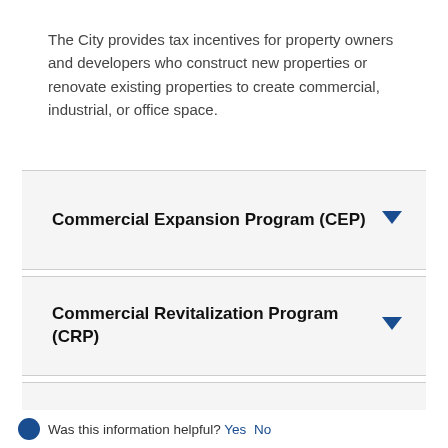The City provides tax incentives for property owners and developers who construct new properties or renovate existing properties to create commercial, industrial, or office space.
Commercial Expansion Program (CEP)
Commercial Revitalization Program (CRP)
Industrial and Commercial Abatement (ICAP or ICIP)
Was this information helpful? Yes No